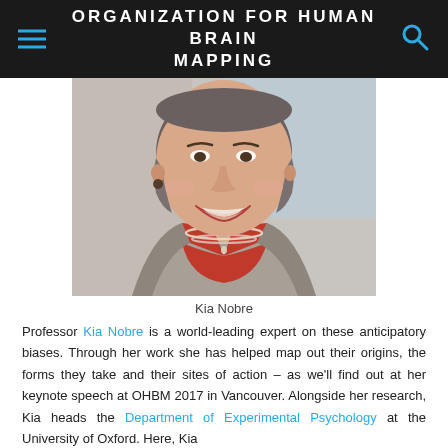ORGANIZATION FOR HUMAN BRAIN MAPPING
[Figure (photo): Portrait photo of Kia Nobre, a woman with short gray-brown hair, red lipstick, wearing a gray blazer over a red top, with a pearl necklace, smiling.]
Kia Nobre
Professor Kia Nobre is a world-leading expert on these anticipatory biases. Through her work she has helped map out their origins, the forms they take and their sites of action – as we'll find out at her keynote speech at OHBM 2017 in Vancouver. Alongside her research, Kia heads the Department of Experimental Psychology at the University of Oxford. Here, Kia